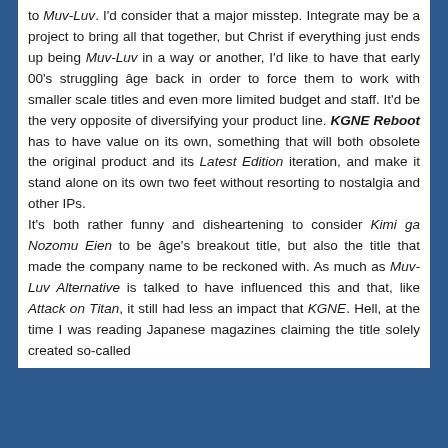to Muv-Luv. I'd consider that a major misstep. Integrate may be a project to bring all that together, but Christ if everything just ends up being Muv-Luv in a way or another, I'd like to have that early 00's struggling âge back in order to force them to work with smaller scale titles and even more limited budget and staff. It'd be the very opposite of diversifying your product line. KGNE Reboot has to have value on its own, something that will both obsolete the original product and its Latest Edition iteration, and make it stand alone on its own two feet without resorting to nostalgia and other IPs.
It's both rather funny and disheartening to consider Kimi ga Nozomu Eien to be âge's breakout title, but also the title that made the company name to be reckoned with. As much as Muv-Luv Alternative is talked to have influenced this and that, like Attack on Titan, it still had less an impact that KGNE. Hell, at the time I was reading Japanese magazines claiming the title solely created so-called